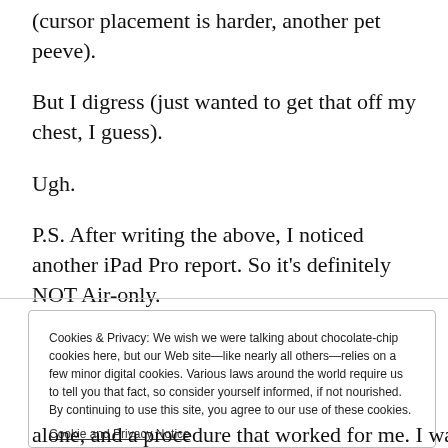(cursor placement is harder, another pet peeve).
But I digress (just wanted to get that off my chest, I guess).
Ugh.
P.S. After writing the above, I noticed another iPad Pro report. So it's definitely NOT Air-only.
Cookies & Privacy: We wish we were talking about chocolate-chip cookies here, but our Web site—like nearly all others—relies on a few minor digital cookies. Various laws around the world require us to tell you that fact, so consider yourself informed, if not nourished. By continuing to use this site, you agree to our use of these cookies.
Cookie and Privacy Notice
Close and Accept
alone, and a procedure that worked for me. I was